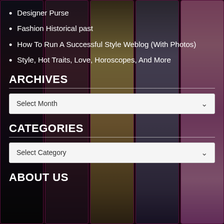Designer Purse
Fashion Historical past
How To Run A Successful Style Weblog (With Photos)
Style, Hot Traits, Love, Horoscopes, And More
ARCHIVES
Select Month
CATEGORIES
Select Category
ABOUT US